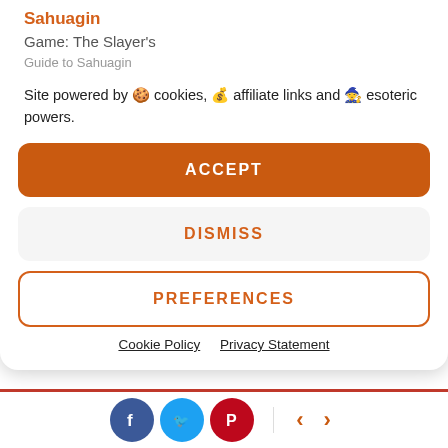Sahuagin
Game: The Slayer's Guide to Sahuagin
Site powered by 🍪 cookies, 💰 affiliate links and 🧙 esoteric powers.
ACCEPT
DISMISS
PREFERENCES
Cookie Policy   Privacy Statement
learn from qualifying purchases. Geek Native also earns money through DriveThruRPG and Skimlinks. Find out how.